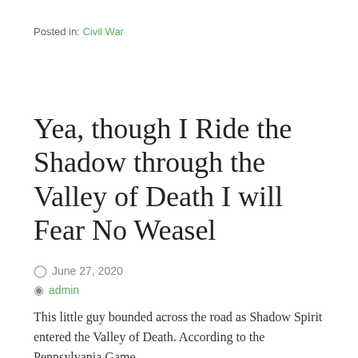Posted in: Civil War
Yea, though I Ride the Shadow through the Valley of Death I will Fear No Weasel
June 27, 2020
admin
This little guy bounded across the road as Shadow Spirit entered the Valley of Death. According to the Pennsylvania Game…